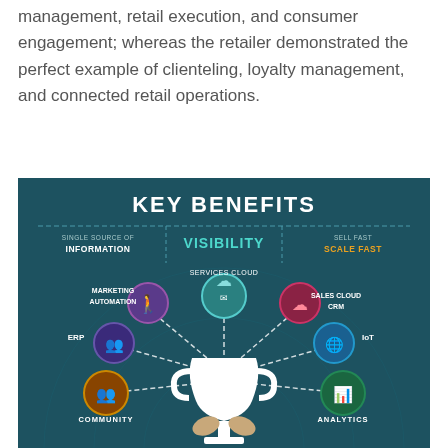management, retail execution, and consumer engagement; whereas the retailer demonstrated the perfect example of clienteling, loyalty management, and connected retail operations.
[Figure (infographic): Key Benefits infographic on a dark teal background. Header reads KEY BENEFITS. Three column labels: SINGLE SOURCE OF INFORMATION, VISIBILITY, SELL FAST SCALE FAST. Central trophy/cup icon with dashed lines radiating to six labeled circles: Services Cloud (top center, teal cloud icon), Marketing Automation (upper left, purple person icon), Sales Cloud CRM (upper right, pink cloud icon), ERP (left, purple people icon), IoT (right, blue globe icon), Community (lower left, orange people icon), Analytics (lower right, green chart icon). A figure holding the trophy is at the bottom.]